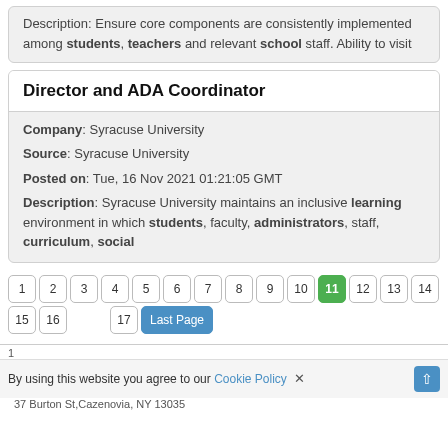Description: Ensure core components are consistently implemented among students, teachers and relevant school staff. Ability to visit
Director and ADA Coordinator
Company: Syracuse University
Source: Syracuse University
Posted on: Tue, 16 Nov 2021 01:21:05 GMT
Description: Syracuse University maintains an inclusive learning environment in which students, faculty, administrators, staff, curriculum, social
1 2 3 4 5 6 7 8 9 10 11 12 13 14 15 16 17 Last Page
1
By using this website you agree to our Cookie Policy ×
37 Burton St,Cazenovia, NY 13035